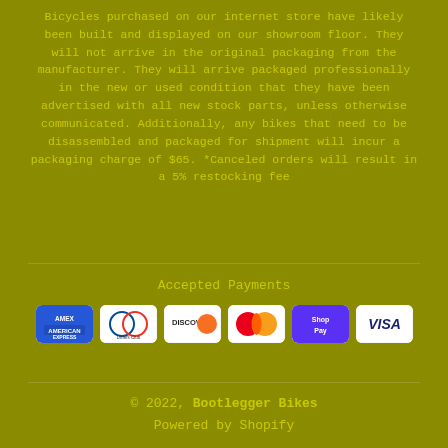Bicycles purchased on our internet store have likely been built and displayed on our showroom floor. They will not arrive in the original packaging from the manufacturer. They will arrive packaged professionally in the new or used condition that they have been advertised with all new stock parts, unless otherwise communicated. Additionally, any bikes that need to be disassembled and packaged for shipment will incur a packaging charge of $65. *Canceled orders will result in a 5% restocking fee
[Figure (other): Payment method icons: American Express, Diners Club, Discover, Mastercard, Shop Pay, Visa]
Accepted Payments
© 2022, Bootlegger Bikes Powered by Shopify